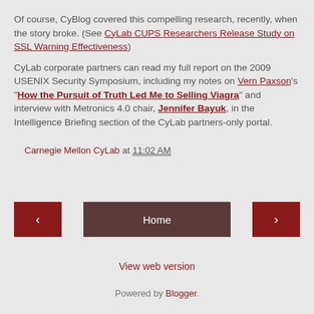Of course, CyBlog covered this compelling research, recently, when the story broke. (See CyLab CUPS Researchers Release Study on SSL Warning Effectiveness)
CyLab corporate partners can read my full report on the 2009 USENIX Security Symposium, including my notes on Vern Paxson's “How the Pursuit of Truth Led Me to Selling Viagra” and interview with Metronics 4.0 chair, Jennifer Bayuk, in the Intelligence Briefing section of the CyLab partners-only portal.
Carnegie Mellon CyLab at 11:02 AM
Home
View web version
Powered by Blogger.